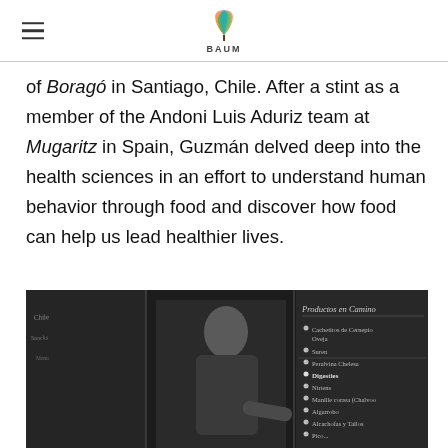BAUM (logo with hamburger menu)
of Boragó in Santiago, Chile. After a stint as a member of the Andoni Luis Aduriz team at Mugaritz in Spain, Guzmán delved deep into the health sciences in an effort to understand human behavior through food and discover how food can help us lead healthier lives.
[Figure (photo): Black and white photo of a man (chef Guzmán) standing in front of a chalkboard with lists written on it, including 'Productos en Camino' with various items listed.]